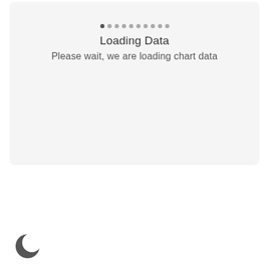[Figure (screenshot): A loading state card with a row of dots (first dot darker/active), bold 'Loading Data' title, and subtitle 'Please wait, we are loading chart data', on a light gray background]
[Figure (illustration): A crescent moon icon (dark circle with a smaller white circle offset to create crescent shape) in the bottom-left corner of the page]